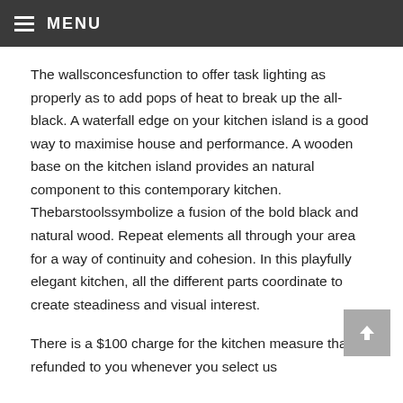≡ MENU
The wallsconcesfunction to offer task lighting as properly as to add pops of heat to break up the all-black. A waterfall edge on your kitchen island is a good way to maximise house and performance. A wooden base on the kitchen island provides an natural component to this contemporary kitchen. Thebarstoolssymbolize a fusion of the bold black and natural wood. Repeat elements all through your area for a way of continuity and cohesion. In this playfully elegant kitchen, all the different parts coordinate to create steadiness and visual interest.
There is a $100 charge for the kitchen measure that is refunded to you whenever you select us